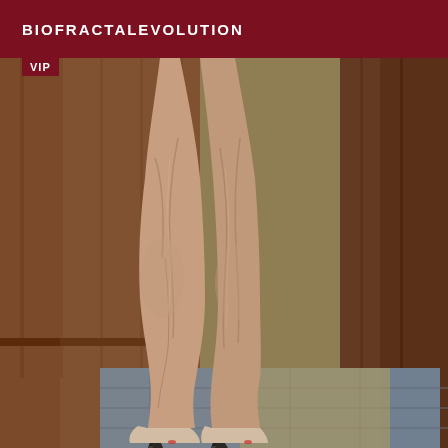BIOFRACTALEVOLUTION
VIP
[Figure (photo): Close-up photograph of muscular human legs wearing black high-heel mule sandals, standing on a tiled floor with wooden paneling in the background. The legs show prominent muscle definition and vascularity.]